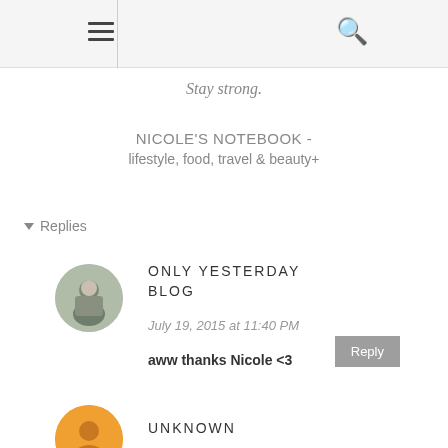≡  🔍
Stay strong.
NICOLE'S NOTEBOOK -
lifestyle, food, travel & beauty+
▾ Replies
[Figure (photo): Circular avatar photo of a person at a table]
ONLY YESTERDAY BLOG
July 19, 2015 at 11:40 PM
aww thanks Nicole <3
Reply
[Figure (photo): Circular orange avatar icon for Unknown commenter]
UNKNOWN